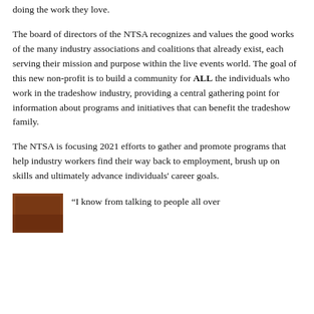doing the work they love.
The board of directors of the NTSA recognizes and values the good works of the many industry associations and coalitions that already exist, each serving their mission and purpose within the live events world. The goal of this new non-profit is to build a community for ALL the individuals who work in the tradeshow industry, providing a central gathering point for information about programs and initiatives that can benefit the tradeshow family.
The NTSA is focusing 2021 efforts to gather and promote programs that help industry workers find their way back to employment, brush up on skills and ultimately advance individuals' career goals.
[Figure (photo): Small photograph of a person or scene, brownish-red toned image]
“I know from talking to people all over